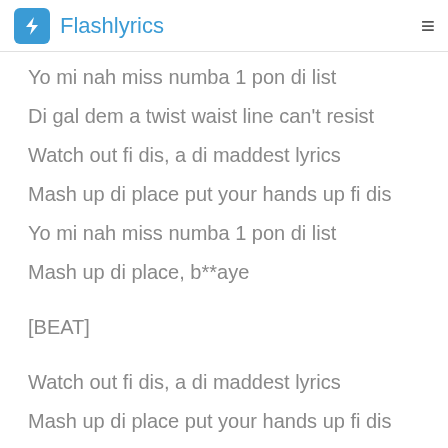Flashlyrics
Yo mi nah miss numba 1 pon di list
Di gal dem a twist waist line can't resist
Watch out fi dis, a di maddest lyrics
Mash up di place put your hands up fi dis
Yo mi nah miss numba 1 pon di list
Mash up di place, b**aye
[BEAT]
Watch out fi dis, a di maddest lyrics
Mash up di place put your hands up fi dis
Yo mi nah miss numba 1 pon di list